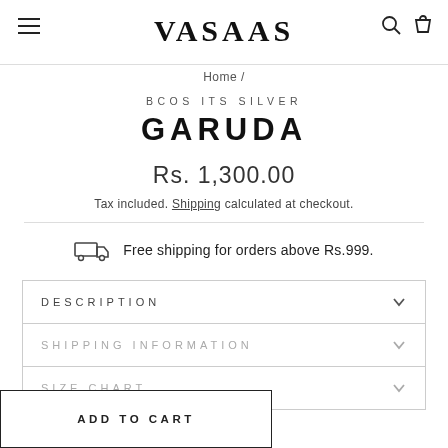VASAAS
Home /
BCOS ITS SILVER
GARUDA
Rs. 1,300.00
Tax included. Shipping calculated at checkout.
Free shipping for orders above Rs.999.
DESCRIPTION
SHIPPING INFORMATION
SIZE CHART
ADD TO CART